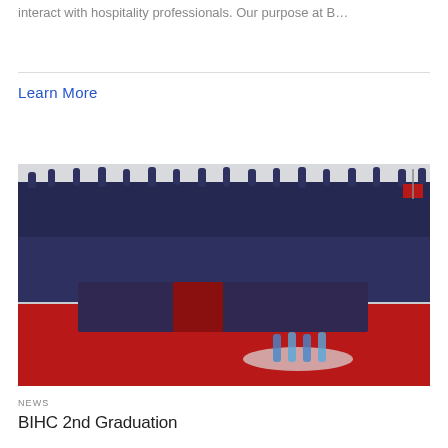interact with hospitality professionals. Our purpose at B…
Learn More
[Figure (photo): Group graduation photo showing students in navy blue and red graduation gowns with hands raised, seated dignitaries in front on red carpet, water bottles on table in foreground]
NEWS
BIHC 2nd Graduation